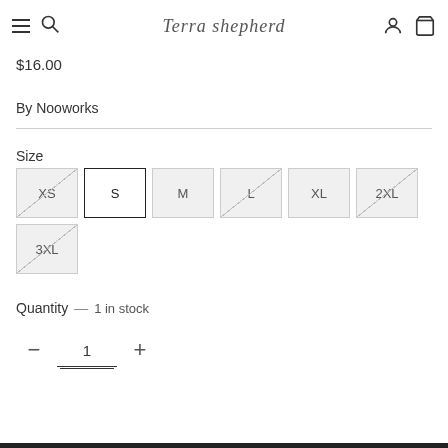Terra Shepherd
$16.00
By Nooworks
Size
XS, S (selected), M, L, XL, 2XL, 3XL
Quantity — 1 in stock
1